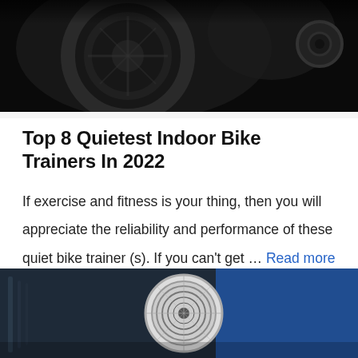[Figure (photo): Close-up dark photo of indoor bike trainer mechanical parts, dark background]
Top 8 Quietest Indoor Bike Trainers In 2022
If exercise and fitness is your thing, then you will appreciate the reliability and performance of these quiet bike trainer (s). If you can't get … Read more
[Figure (photo): Close-up photo of indoor bike trainer wheel/fan detail with blue background]